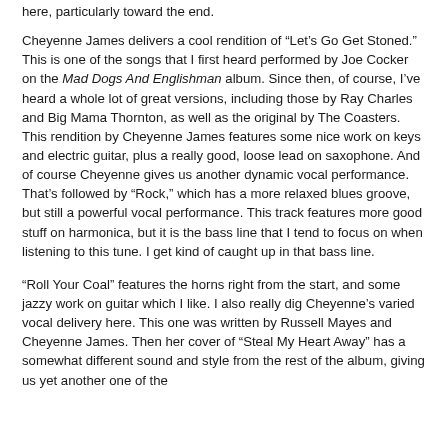here, particularly toward the end.
Cheyenne James delivers a cool rendition of “Let’s Go Get Stoned.” This is one of the songs that I first heard performed by Joe Cocker on the Mad Dogs And Englishman album. Since then, of course, I’ve heard a whole lot of great versions, including those by Ray Charles and Big Mama Thornton, as well as the original by The Coasters. This rendition by Cheyenne James features some nice work on keys and electric guitar, plus a really good, loose lead on saxophone. And of course Cheyenne gives us another dynamic vocal performance. That’s followed by “Rock,” which has a more relaxed blues groove, but still a powerful vocal performance. This track features more good stuff on harmonica, but it is the bass line that I tend to focus on when listening to this tune. I get kind of caught up in that bass line.
“Roll Your Coal” features the horns right from the start, and some jazzy work on guitar which I like. I also really dig Cheyenne’s varied vocal delivery here. This one was written by Russell Mayes and Cheyenne James. Then her cover of “Steal My Heart Away” has a somewhat different sound and ...